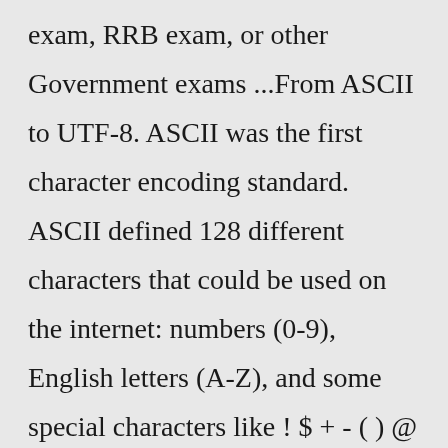exam, RRB exam, or other Government exams ...From ASCII to UTF-8. ASCII was the first character encoding standard. ASCII defined 128 different characters that could be used on the internet: numbers (0-9), English letters (A-Z), and some special characters like ! $ + - ( ) @ < > . ISO-8859-1 was the default character set for HTML 4. This character set supported 256 different character codes. First published by Chen V